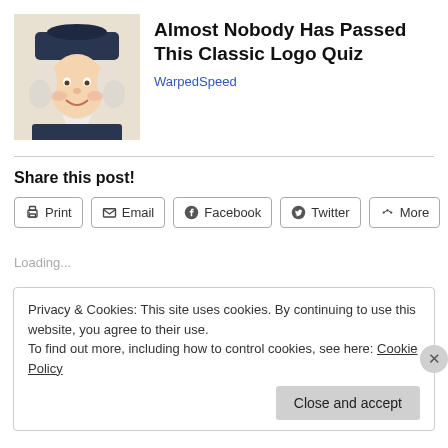[Figure (illustration): Quaker Oats man mascot illustration — man in colonial-era dark hat and white collar, smiling]
Almost Nobody Has Passed This Classic Logo Quiz
WarpedSpeed
Share this post!
Print  Email  Facebook  Twitter  More
Loading...
Privacy & Cookies: This site uses cookies. By continuing to use this website, you agree to their use.
To find out more, including how to control cookies, see here: Cookie Policy
Close and accept